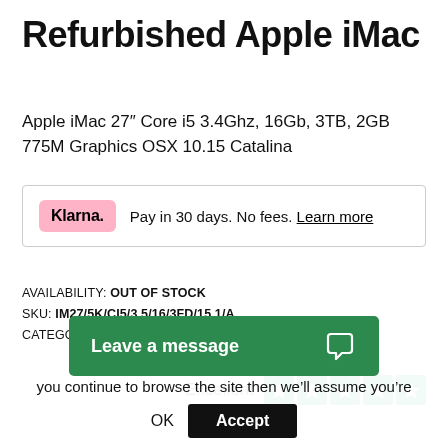Refurbished Apple iMac
Apple iMac 27″ Core i5 3.4Ghz, 16Gb, 3TB, 2GB 775M Graphics OSX 10.15 Catalina
Klarna. Pay in 30 days. No fees. Learn more
AVAILABILITY: OUT OF STOCK
SKU: IM27/5K/CI5/3.5/16/3FD/15,1/A
CATEGORIES: 27″ APPLE IMAC, APPLE IMAC
[Figure (other): Trustpilot Excellent rating with 5 green stars]
Leave a message
This website uses coo... you continue to browse the site then we’ll assume you’re
OK Accept